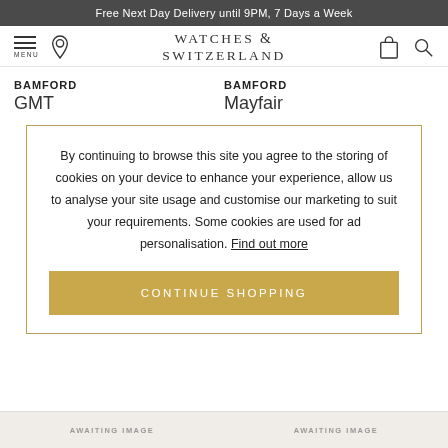Free Next Day Delivery until 9PM, 7 Days a Week
[Figure (logo): Watches of Switzerland logo with navigation icons (menu, location, bag, search)]
BAMFORD
GMT
BAMFORD
Mayfair
By continuing to browse this site you agree to the storing of cookies on your device to enhance your experience, allow us to analyse your site usage and customise our marketing to suit your requirements. Some cookies are used for ad personalisation. Find out more
CONTINUE SHOPPING
AWAITING IMAGE
AWAITING IMAGE